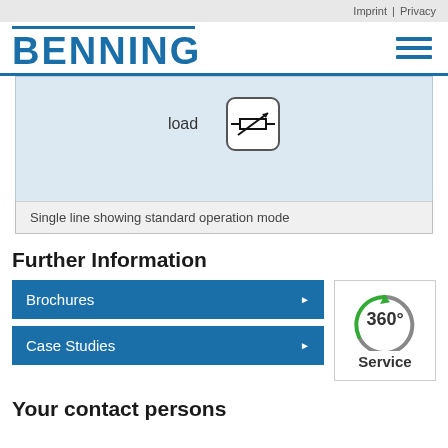Imprint | Privacy
[Figure (logo): BENNING company logo in blue with navigation hamburger menu icon]
[Figure (schematic): Single line diagram showing load symbol with electrical component icon on blue background]
Single line showing standard operation mode
Further Information
Brochures
Case Studies
[Figure (infographic): 360° Service circular logo with green arrow]
Your contact persons